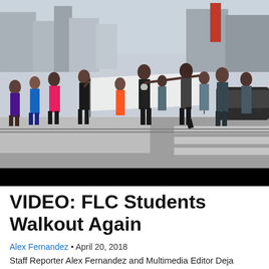[Figure (photo): Students walking in a street protest/walkout, carrying a large white banner, on a sunny day in an urban setting with tall buildings in the background.]
VIDEO: FLC Students Walkout Again
Alex Fernandez • April 20, 2018
Staff Reporter Alex Fernandez and Multimedia Editor Deja Dawkins Today, Friday April 20 is the National Walkout. Today is also the 19th anniversary of the Columbine High School massacre. Students